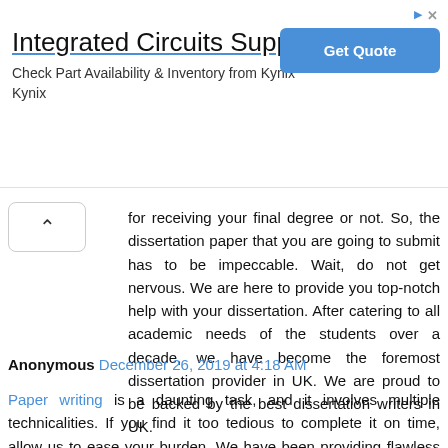[Figure (screenshot): Advertisement banner for Integrated Circuits Supplier - Kynix. Shows title 'Integrated Circuits Supplier', subtitle 'Check Part Availability & Inventory from Kynix', brand name 'Kynix', and a blue 'Get Quote' button.]
for receiving your final degree or not. So, the dissertation paper that you are going to submit has to be impeccable. Wait, do not get nervous. We are here to provide you top-notch help with your dissertation. After catering to all academic needs of the students over a decade, we have become the foremost dissertation provider in UK. We are proud to be backed by the best dissertation writers in UK.
Reply
Anonymous December 26, 2019 at 4:18 AM
Paper writing is a daunting task, and it involves multiple technicalities. If you find it too tedious to complete it on time, allow us to ease your burden. We have been providing flawless paper writing help service to hundreds of students in the US. Place your trust in our service, and we won't let you down.